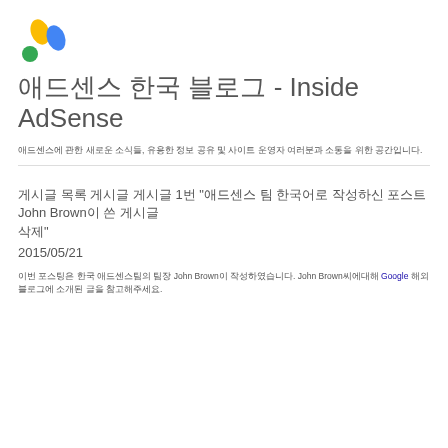[Figure (logo): Google AdSense logo with yellow, blue, and green pill shapes]
애드센스 한국 블로그 - Inside AdSense
애드센스에 관한 새로운 소식들, 유용한 정보 공유 및 사이트 운영자 여러분과 소통을 위한 공간입니다.
게시글 목록 게시글 게시글 1번 "애드센스 팀 한국어로 작성하신 포스트 John Brown이 쓴 게시글 삭제"
2015/05/21
이번 포스팅은 한국 애드센스팀의 팀장 John Brown이 작성하였습니다. John Brown씨에대해 Google 해외 블로그에 소개된 글을 참고해주세요.